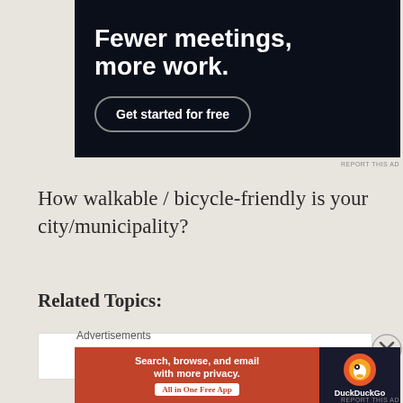[Figure (screenshot): Advertisement banner with dark navy background showing 'Fewer meetings, more work.' headline in bold white text and a 'Get started for free' button with rounded border outline]
REPORT THIS AD
How walkable / bicycle-friendly is your city/municipality?
Related Topics:
[Figure (screenshot): White content box area placeholder]
Advertisements
[Figure (screenshot): DuckDuckGo advertisement banner: left side orange/red with 'Search, browse, and email with more privacy. All in One Free App'; right side dark with DuckDuckGo duck logo]
REPORT THIS AD